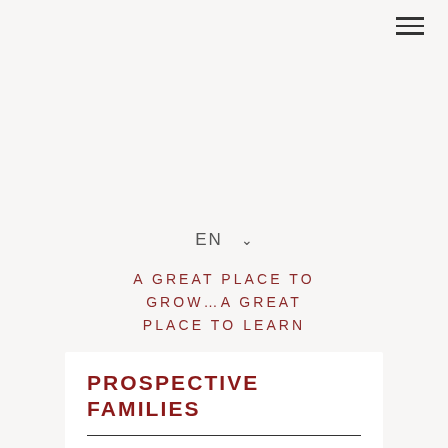≡ (navigation menu icon)
EN ∨
A GREAT PLACE TO GROW...A GREAT PLACE TO LEARN
PROSPECTIVE FAMILIES
ST. BRUNO'S ADMISSIONS POLICY